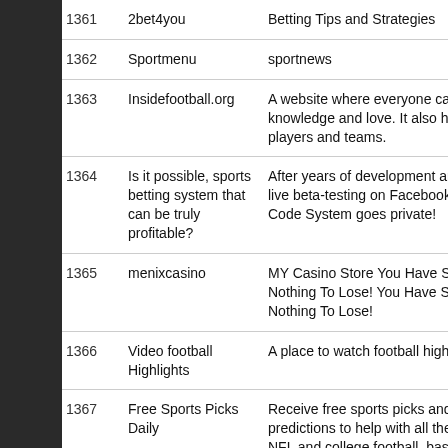| # | Name | Description |
| --- | --- | --- |
| 1361 | 2bet4you | Betting Tips and Strategies |
| 1362 | Sportmenu | sportnews |
| 1363 | Insidefootball.org | A website where everyone can knowledge and love. It also has players and teams. |
| 1364 | Is it possible, sports betting system that can be truly profitable? | After years of development and live beta-testing on Facebook, Code System goes private! |
| 1365 | menixcasino | MY Casino Store You Have So Nothing To Lose! You Have So Nothing To Lose! |
| 1366 | Video football Highlights | A place to watch football highlig |
| 1367 | Free Sports Picks Daily | Receive free sports picks and h predictions to help with all the n NFL and college football, baseb |
| 1368 | 10MinutesPayday | The Best-Paying Work-At-Hom |